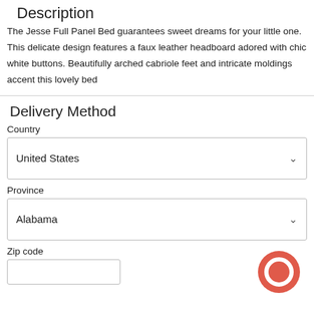Description
The Jesse Full Panel Bed guarantees sweet dreams for your little one. This delicate design features a faux leather headboard adored with chic white buttons. Beautifully arched cabriole feet and intricate moldings accent this lovely bed
Delivery Method
Country
United States
Province
Alabama
Zip code
[Figure (other): Red circular chat/messaging bubble icon in bottom right corner]